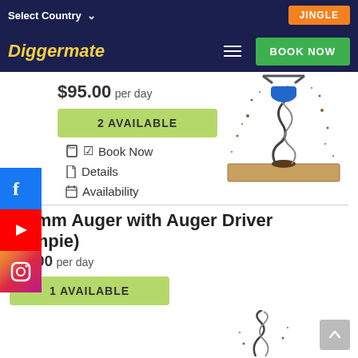Select Country  JINGLE
Diggermate  BOOK NOW
$95.00 per day
2 AVAILABLE
Book Now
Details
Availability
[Figure (illustration): Illustration of an auger drill bit with auger driver, showing the spiral drill bit and blue motor housing with soil/dirt flying around it]
450mm Auger with Auger Driver (Gympie)
$95.00 per day
1 AVAILABLE
[Figure (illustration): Partial illustration of an auger at bottom right of page]